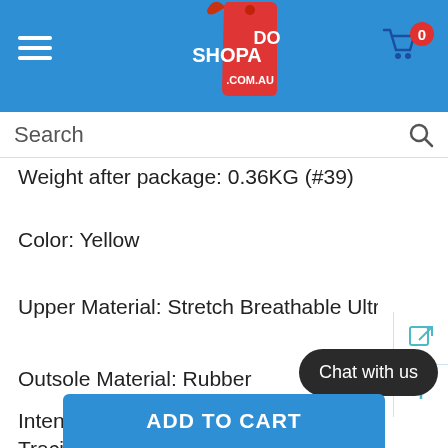[Figure (logo): Shopado.com.au logo with price tag graphic on blue header background with hamburger menu and cart icon]
Search
Weight after package: 0.36KG (#39)
Color: Yellow
Upper Material: Stretch Breathable Ultra Light Weight Fa
Outsole Material: Rubber
Intended Use: Beach, Fishing, River Tracing, Gym & Training, Hiking, Mountain-Climbing, Walking, Yoga, anding, Surfing, Diving, Running, Running...
ADD TO CART
Chat with us